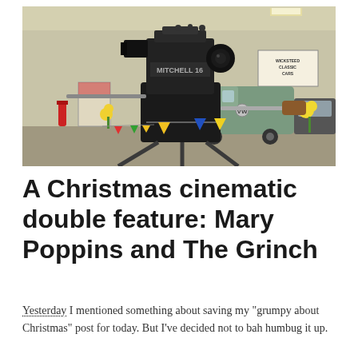[Figure (photo): A vintage Mitchell 16 film camera on a tripod in a indoor space that appears to be a garage or museum with classic cars in the background, including a Volkswagen van. Colorful bunting flags are visible.]
A Christmas cinematic double feature: Mary Poppins and The Grinch
Yesterday I mentioned something about saving my "grumpy about Christmas" post for today. But I've decided not to bah humbug it up.